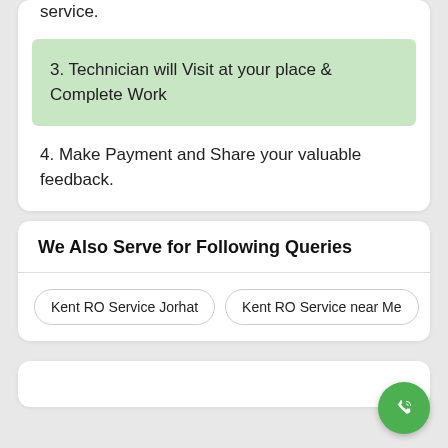service.
3. Technician will Visit at your place & Complete Work
4. Make Payment and Share your valuable feedback.
We Also Serve for Following Queries
Kent RO Service Jorhat
Kent RO Service near Me